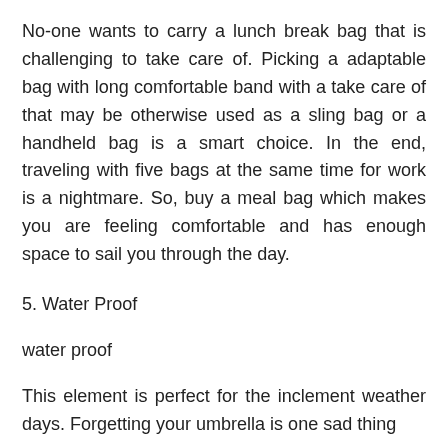No-one wants to carry a lunch break bag that is challenging to take care of. Picking a adaptable bag with long comfortable band with a take care of that may be otherwise used as a sling bag or a handheld bag is a smart choice. In the end, traveling with five bags at the same time for work is a nightmare. So, buy a meal bag which makes you are feeling comfortable and has enough space to sail you through the day.
5. Water Proof
water proof
This element is perfect for the inclement weather days. Forgetting your umbrella is one sad thing